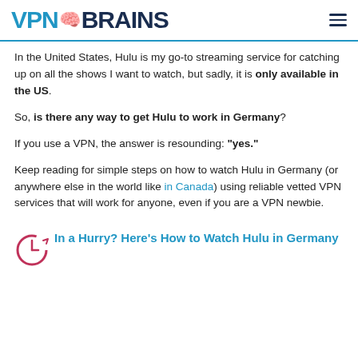VPN BRAINS
In the United States, Hulu is my go-to streaming service for catching up on all the shows I want to watch, but sadly, it is only available in the US.
So, is there any way to get Hulu to work in Germany?
If you use a VPN, the answer is resounding: "yes."
Keep reading for simple steps on how to watch Hulu in Germany (or anywhere else in the world like in Canada) using reliable vetted VPN services that will work for anyone, even if you are a VPN newbie.
In a Hurry? Here's How to Watch Hulu in Germany